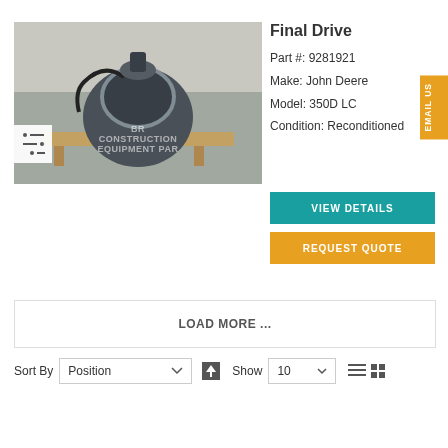[Figure (photo): A final drive unit wrapped in plastic, placed on a wooden pallet in a warehouse. Watermark reads 'BR Construction Equipment Parts'.]
Final Drive
Part #: 9281921
Make: John Deere
Model: 350D LC
Condition: Reconditioned
VIEW DETAILS
REQUEST QUOTE
LOAD MORE ...
Sort By  Position  Show  10